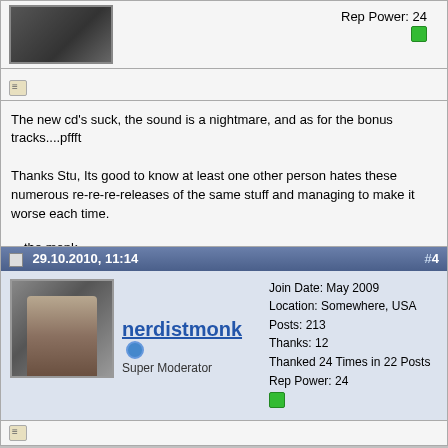[Figure (photo): User avatar photo top section, partially visible]
Rep Power: 24
[Figure (other): Small green reputation indicator square]
[Figure (other): Default post icon (small document icon)]
The new cd's suck, the sound is a nightmare, and as for the bonus tracks....pffft

Thanks Stu, Its good to know at least one other person hates these numerous re-re-re-releases of the same stuff and managing to make it worse each time.
---the monk
Houston, This is Aquarius signing off.
Last edited by nerdistmonk; 30.10.2010 at 06:32.
[Figure (other): Reply with Quote button]
29.10.2010, 11:14
#4
[Figure (photo): nerdistmonk user avatar photo]
nerdistmonk
Super Moderator
Join Date: May 2009
Location: Somewhere, USA
Posts: 213
Thanks: 12
Thanked 24 Times in 22 Posts
Rep Power: 24
[Figure (other): Small green reputation indicator square]
[Figure (other): Default post icon at bottom]